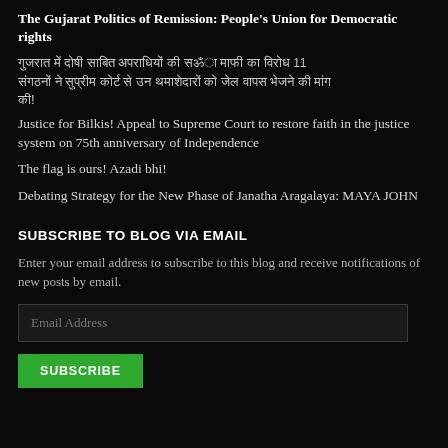The Gujarat Politics of Remission: People's Union for Democratic rights
[Hindi text] 11 [Hindi text continued]!
Justice for Bilkis! Appeal to Supreme Court to restore faith in the justice system on 75th anniversary of Independence
The flag is ours! Azadi bhi!
Debating Strategy for the New Phase of Janatha Aragalaya: MAYA JOHN
SUBSCRIBE TO BLOG VIA EMAIL
Enter your email address to subscribe to this blog and receive notifications of new posts by email.
Email Address
SUBSCRIBE